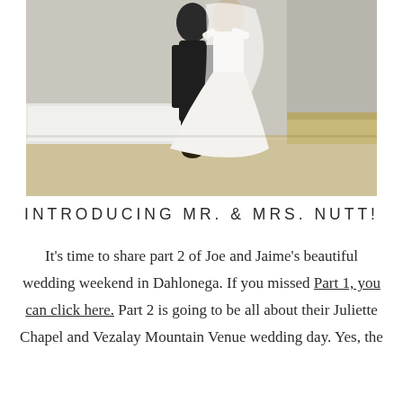[Figure (photo): A couple dancing in a bright room with white wainscoting, wood floors, and light gray walls. The groom is in a dark suit and the bride is in a white wedding gown with a flowing veil.]
INTRODUCING MR. & MRS. NUTT!
It's time to share part 2 of Joe and Jaime's beautiful wedding weekend in Dahlonega. If you missed Part 1, you can click here. Part 2 is going to be all about their Juliette Chapel and Vezalay Mountain Venue wedding day. Yes, the